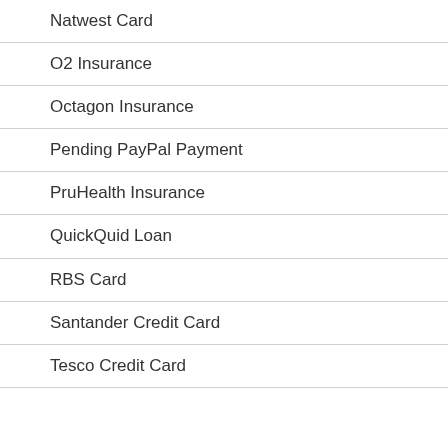Natwest Card
O2 Insurance
Octagon Insurance
Pending PayPal Payment
PruHealth Insurance
QuickQuid Loan
RBS Card
Santander Credit Card
Tesco Credit Card